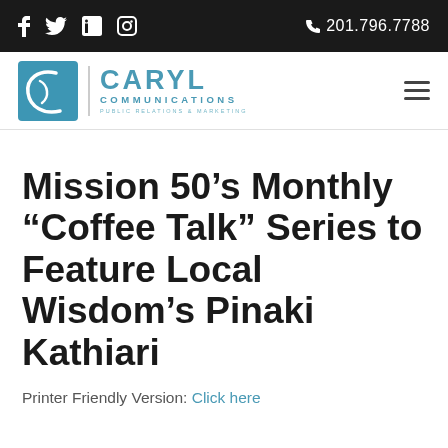f  ✓  in  ⊙    ☎ 201.796.7788
[Figure (logo): Caryl Communications logo — teal square icon with stylized C and coffee bean, beside CARYL COMMUNICATIONS PUBLIC RELATIONS & MARKETING in teal text]
Mission 50’s Monthly “Coffee Talk” Series to Feature Local Wisdom’s Pinaki Kathiari
Printer Friendly Version: Click here